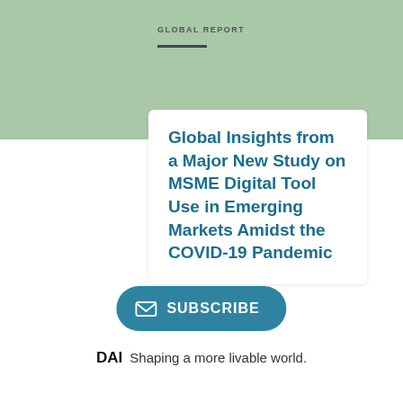GLOBAL REPORT
Global Insights from a Major New Study on MSME Digital Tool Use in Emerging Markets Amidst the COVID-19 Pandemic
[Figure (other): Subscribe button with envelope icon, teal rounded rectangle]
DAI Shaping a more livable world.